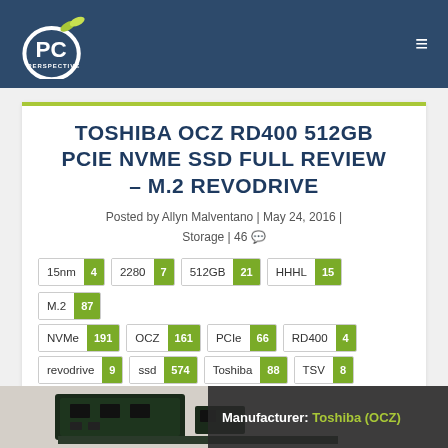PC Perspective
TOSHIBA OCZ RD400 512GB PCIE NVME SSD FULL REVIEW – M.2 REVODRIVE
Posted by Allyn Malventano | May 24, 2016 | Storage | 46
15nm 4
2280 7
512GB 21
HHHL 15
M.2 87
NVMe 191
OCZ 161
PCIe 66
RD400 4
revodrive 9
ssd 574
Toshiba 88
TSV 8
[Figure (photo): Photo of PCIe NVMe SSD hardware with manufacturer badge overlay reading 'Manufacturer: Toshiba (OCZ)']